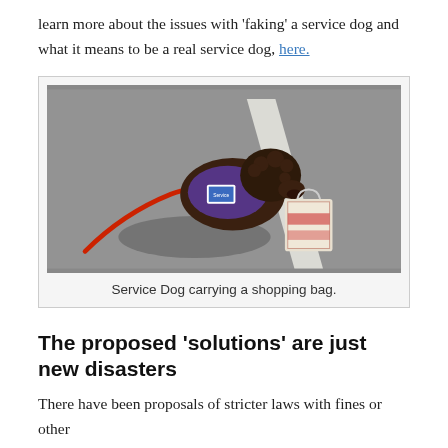learn more about the issues with 'faking' a service dog and what it means to be a real service dog, here.
[Figure (photo): A curly-haired brown dog wearing a purple service dog vest, carrying a shopping bag in its mouth. It is on a leash and standing on pavement with a painted white line.]
Service Dog carrying a shopping bag.
The proposed 'solutions' are just new disasters
There have been proposals of stricter laws with fines or other